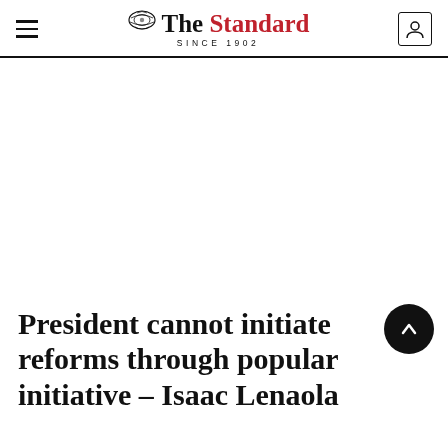The Standard — SINCE 1902
[Figure (photo): Large blank/white image area below the header, likely a placeholder for a news article photo]
President cannot initiate reforms through popular initiative – Isaac Lenaola